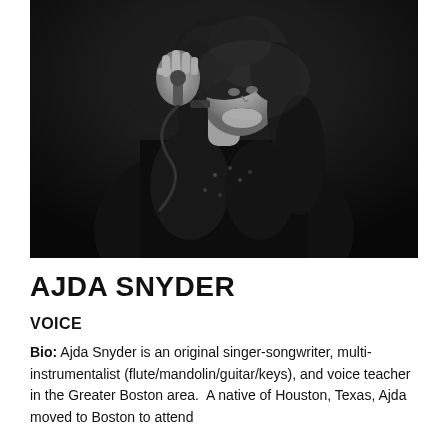[Figure (photo): Black and white performance photo of Ajda Snyder, a woman with curly dark hair, holding a microphone and looking upward, wearing a dark embellished outfit on a dimly lit stage]
AJDA SNYDER
VOICE
Bio: Ajda Snyder is an original singer-songwriter, multi-instrumentalist (flute/mandolin/guitar/keys), and voice teacher in the Greater Boston area.  A native of Houston, Texas, Ajda moved to Boston to attend...